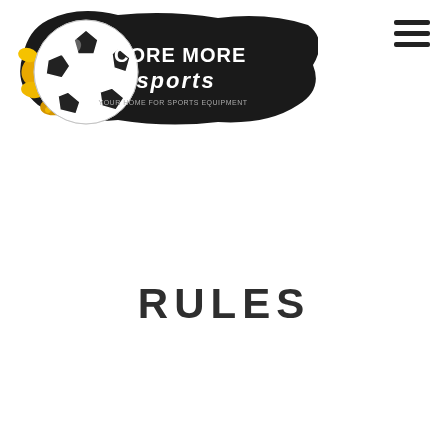[Figure (logo): Score More Sports logo: soccer ball on yellow/black paint splash background with text SCORE MORE sports]
[Figure (other): Hamburger menu icon with three horizontal lines in top right corner]
RULES